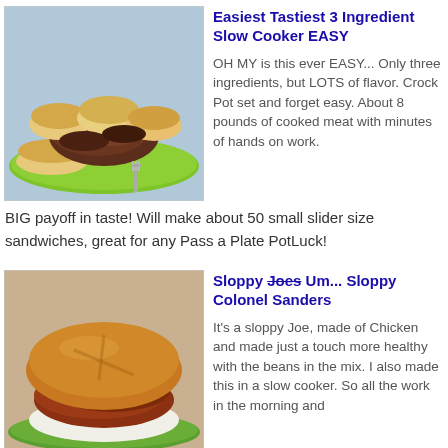[Figure (photo): Pulled pork sliders on a green plate with a fork]
Easiest Tastiest 3 Ingredient Slow Cooker EASY
OH MY is this ever EASY... Only three ingredients, but LOTS of flavor. Crock Pot set and forget easy. About 8 pounds of cooked meat with minutes of hands on work. BIG payoff in taste! Will make about 50 small slider size sandwiches, great for any Pass a Plate PotLuck!
[Figure (photo): Sloppy Colonel Sanders sandwich on a green plate]
Sloppy Joes Um... Sloppy Colonel Sanders
It's a sloppy Joe, made of Chicken and made just a touch more healthy with the beans in the mix. I also made this in a slow cooker. So all the work in the morning and